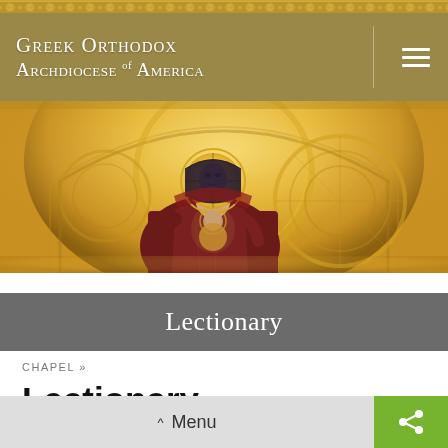Greek Orthodox Archdiocese of America
[Figure (photo): Byzantine icon mosaic of the Virgin Mary (Theotokos) with Christ child in a golden apse, ornate church interior with halos and religious iconography in gold and deep red tones]
Lectionary
CHAPEL »
Lectionary
Sunday of the Samaritan Woman